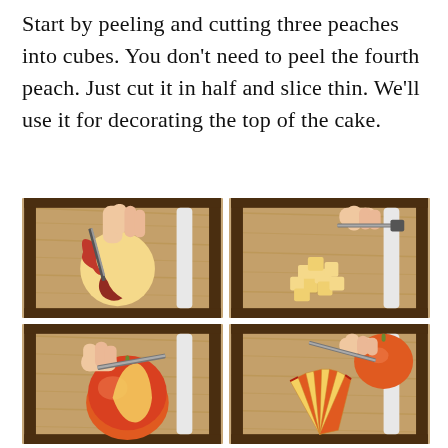Start by peeling and cutting three peaches into cubes. You don't need to peel the fourth peach. Just cut it in half and slice thin. We'll use it for decorating the top of the cake.
[Figure (photo): Four photos in a 2x2 grid showing steps for preparing peaches on a wooden cutting board: top-left shows a hand peeling a peach with a knife, top-right shows diced peach cubes being cut, bottom-left shows a whole unpeeled peach being halved with a knife, bottom-right shows a peach sliced thin in a fan pattern.]